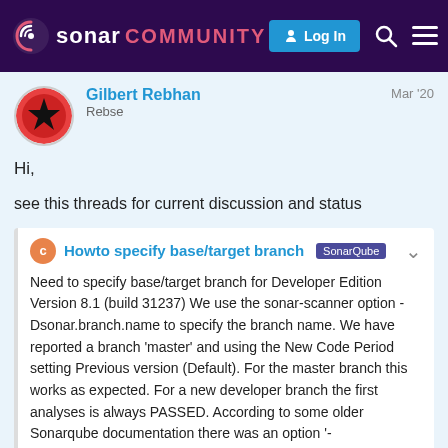sonar COMMUNITY
Gilbert Rebhan
Rebse
Mar '20
Hi,
see this threads for current discussion and status
Howto specify base/target branch  SonarQube
Need to specify base/target branch for Developer Edition Version 8.1 (build 31237) We use the sonar-scanner option -Dsonar.branch.name to specify the branch name. We have reported a branch 'master' and using the New Code Period setting Previous version (Default). For the master branch this works as expected. For a new developer branch the first analyses is always PASSED. According to some older Sonarqube documentation there was an option '-Dsonar.branch.target', but that was rem
5 / 5